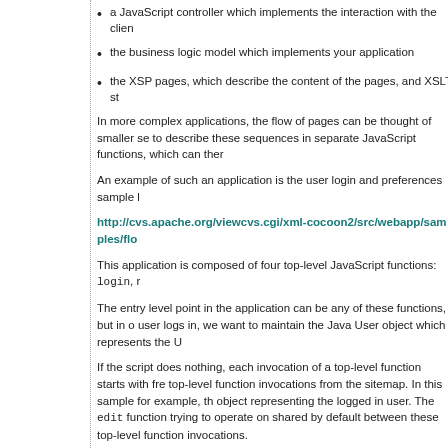a JavaScript controller which implements the interaction with the clien
the business logic model which implements your application
the XSP pages, which describe the content of the pages, and XSLT st
In more complex applications, the flow of pages can be thought of smaller se to describe these sequences in separate JavaScript functions, which can ther
An example of such an application is the user login and preferences sample
http://cvs.apache.org/viewcvs.cgi/xml-cocoon2/src/webapp/samples/flo
This application is composed of four top-level JavaScript functions: login, r
The entry level point in the application can be any of these functions, but in o user logs in, we want to maintain the Java User object which represents the U
If the script does nothing, each invocation of a top-level function starts with fre top-level function invocations from the sitemap. In this sample for example, th object representing the logged in user. The edit function trying to operate on shared by default between these top-level function invocations.
To solve the problem, the login and registerUser functions have to call t session and saves the global scope containing the global variables' value in it values of the global variables is restored, making sharing very easy.
Even if you don't need complex control flow in your application, you may still d JavaScript functions which obtain the request parameters, invoke the busines page and return from the computation. Since there's no continuation object be no memory resource being eaten. The approach provides a clean way of sep have to look at a single script to understand what's going on.